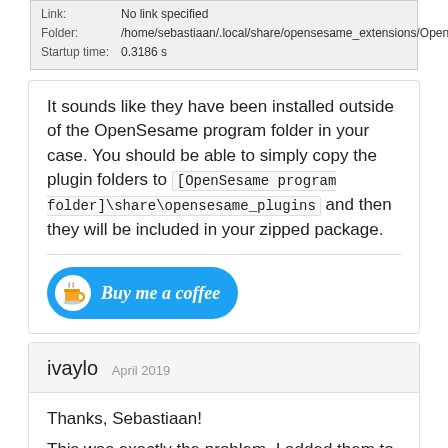| Link: | Folder: | Startup time: |
| --- | --- | --- |
| Link: | No link specified |
| Folder: | /home/sebastiaan/.local/share/opensesame_extensions/OpenScienceFramework |
| Startup time: | 0.3186 s |
It sounds like they have been installed outside of the OpenSesame program folder in your case. You should be able to simply copy the plugin folders to [OpenSesame program folder]\share\opensesame_plugins and then they will be included in your zipped package.
[Figure (other): Buy me a coffee button - blue rounded rectangle with coffee cup icon and italic text 'Buy me a coffee']
ivaylo
April 2019
Thanks, Sebastiaan!
This was exactly the problem. I added them to the